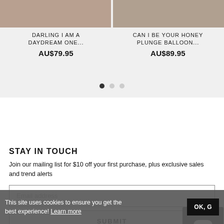[Figure (photo): Two product photos side by side (cropped clothing items on models), partially visible at top of page]
DARLING I AM A DAYDREAM ONE...
AU$79.95
CAN I BE YOUR HONEY PLUNGE BALLOON...
AU$89.95
STAY IN TOUCH
Join our mailing list for $10 off your first purchase, plus exclusive sales and trend alerts
Email address
SUBMIT
This site uses cookies to ensure you get the best experience! Learn more